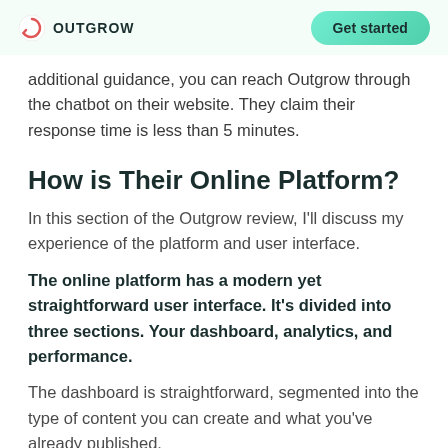OUTGROW | Get started
additional guidance, you can reach Outgrow through the chatbot on their website. They claim their response time is less than 5 minutes.
How is Their Online Platform?
In this section of the Outgrow review, I'll discuss my experience of the platform and user interface.
The online platform has a modern yet straightforward user interface. It's divided into three sections. Your dashboard, analytics, and performance.
The dashboard is straightforward, segmented into the type of content you can create and what you've already published.